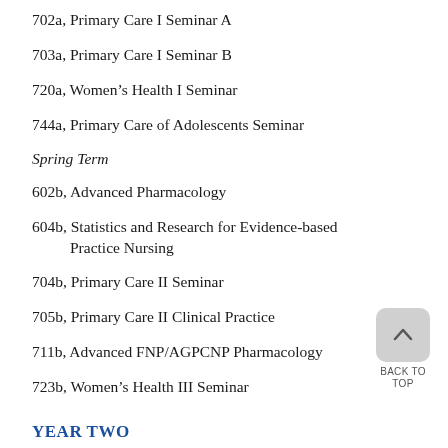702a, Primary Care I Seminar A
703a, Primary Care I Seminar B
720a, Women’s Health I Seminar
744a, Primary Care of Adolescents Seminar
Spring Term
602b, Advanced Pharmacology
604b, Statistics and Research for Evidence-based Practice Nursing
704b, Primary Care II Seminar
705b, Primary Care II Clinical Practice
711b, Advanced FNP/AGPCNP Pharmacology
723b, Women’s Health III Seminar
YEAR TWO